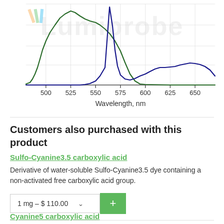[Figure (continuous-plot): Spectral plot showing excitation (green) and emission (blue) curves for a cyanine dye. X-axis: Wavelength, nm (range ~480–670). Y-axis: unlabeled intensity. Green curve peaks around 520nm with a shoulder near 548nm. Blue curve peaks sharply around 564nm with a broad emission tail extending to ~670nm. Lumiprobe watermark in background.]
Customers also purchased with this product
Sulfo-Cyanine3.5 carboxylic acid
Derivative of water-soluble Sulfo-Cyanine3.5 dye containing a non-activated free carboxylic acid group.
1 mg – $ 110.00
Cyanine5 carboxylic acid